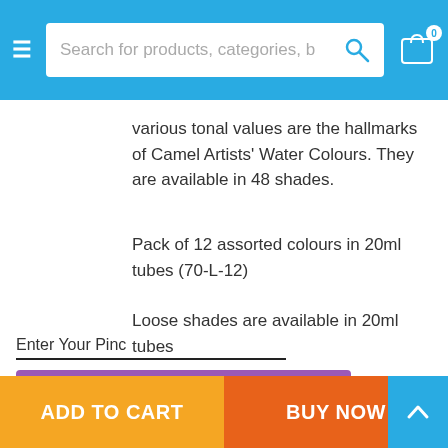Search for products, categories, b
various tonal values are the hallmarks of Camel Artists' Water Colours. They are available in 48 shades.
Pack of 12 assorted colours in 20ml tubes (70-L-12)
Loose shades are available in 20ml tubes
Enter Your Pinc
CHECK
ADD TO CART   BUY NOW